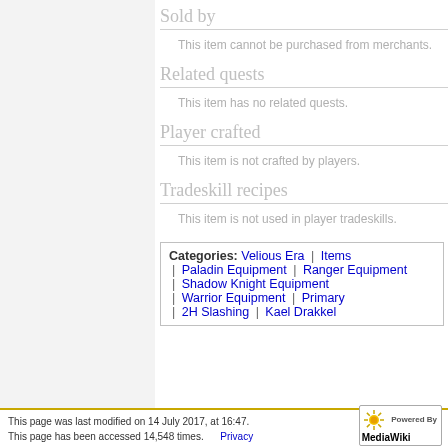Sold by
This item cannot be purchased from merchants.
Related quests
This item has no related quests.
Player crafted
This item is not crafted by players.
Tradeskill recipes
This item is not used in player tradeskills.
| Categories: Velious Era | Items | Paladin Equipment | Ranger Equipment | Shadow Knight Equipment | Warrior Equipment | Primary | 2H Slashing | Kael Drakkel |
This page was last modified on 14 July 2017, at 16:47.
This page has been accessed 14,548 times.
Privacy